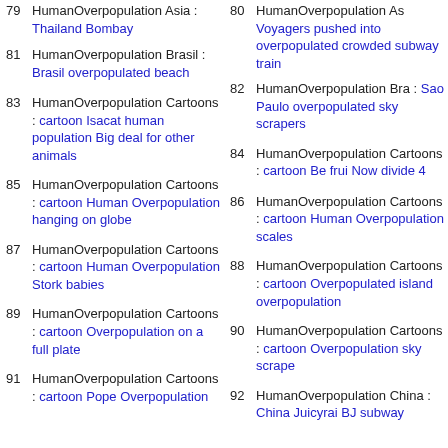79 HumanOverpopulation Asia : Thailand Bombay
80 HumanOverpopulation Asia : Voyagers pushed into overpopulated crowded subway train
81 HumanOverpopulation Brasil : Brasil overpopulated beach
82 HumanOverpopulation Brasil : Sao Paulo overpopulated sky scrapers
83 HumanOverpopulation Cartoons : cartoon Isacat human population Big deal for other animals
84 HumanOverpopulation Cartoons : cartoon Be frui Now divide 4
85 HumanOverpopulation Cartoons : cartoon Human Overpopulation hanging on globe
86 HumanOverpopulation Cartoons : cartoon Human Overpopulation scales
87 HumanOverpopulation Cartoons : cartoon Human Overpopulation Stork babies
88 HumanOverpopulation Cartoons : cartoon Overpopulated island overpopulation
89 HumanOverpopulation Cartoons : cartoon Overpopulation on a full plate
90 HumanOverpopulation Cartoons : cartoon Overpopulation sky scrapers
91 HumanOverpopulation Cartoons : cartoon Pope Overpopulation
92 HumanOverpopulation China : China Juicyrai BJ subway